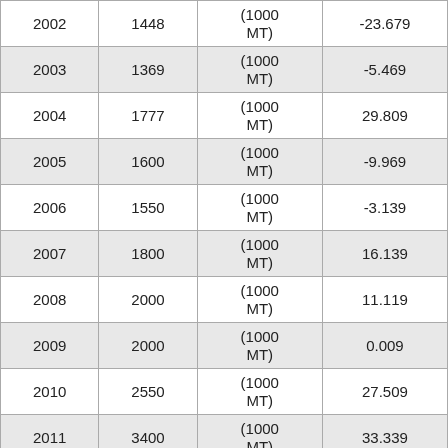| 2002 | 1448 | (1000 MT) | -23.679 |
| 2003 | 1369 | (1000 MT) | -5.469 |
| 2004 | 1777 | (1000 MT) | 29.809 |
| 2005 | 1600 | (1000 MT) | -9.969 |
| 2006 | 1550 | (1000 MT) | -3.139 |
| 2007 | 1800 | (1000 MT) | 16.139 |
| 2008 | 2000 | (1000 MT) | 11.119 |
| 2009 | 2000 | (1000 MT) | 0.009 |
| 2010 | 2550 | (1000 MT) | 27.509 |
| 2011 | 3400 | (1000 MT) | 33.339 |
| 2012 | 2400 | (1000 MT) | -29.419 |
| 2013 | 2000 | (1000 MT) | ... |